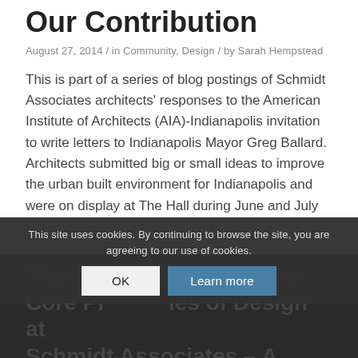Our Contribution
August 27, 2014 / in Community, Design / by Sarah Hempstead
This is part of a series of blog postings of Schmidt Associates architects' responses to the American Institute of Architects (AIA)-Indianapolis invitation to write letters to Indianapolis Mayor Greg Ballard. Architects submitted big or small ideas to improve the urban built environment for Indianapolis and were on display at The Hall during June and July [...]
READ MORE
Third in the Series of Four Core Principles of Design at Schmidt Associates – A
This site uses cookies. By continuing to browse the site, you are agreeing to our use of cookies.
OK
Learn more